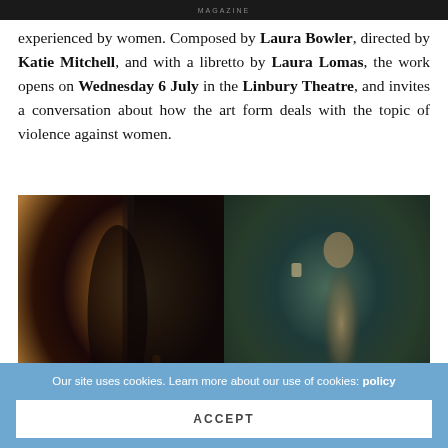MAGAZINE
experienced by women. Composed by Laura Bowler, directed by Katie Mitchell, and with a libretto by Laura Lomas, the work opens on Wednesday 6 July in the Linbury Theatre, and invites a conversation about how the art form deals with the topic of violence against women.
[Figure (photo): Two side-by-side photographs: left image shows a dark abstract blurred figure near a door in warm brown tones; right image shows a blurred nude figure against a teal/dark green wall.]
Our site uses cookies. Learn more about our use of cookies: policy
ACCEPT